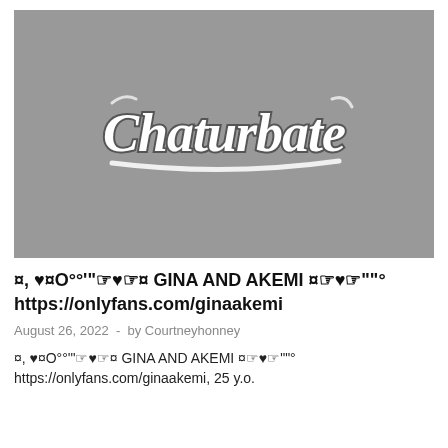[Figure (logo): Chaturbate logo in stylized script font on a gray background]
¤, ♥¤O°°'"☞♥☞¤ GINA AND AKEMI ¤☞♥☞""° https://onlyfans.com/ginaakemi
August 26, 2022  -  by Courtneyhonney
¤, ♥¤O°°'"☞♥☞¤ GINA AND AKEMI ¤☞♥☞""° https://onlyfans.com/ginaakemi, 25 y.o.